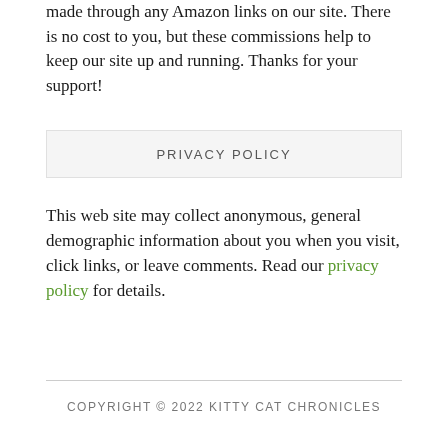made through any Amazon links on our site. There is no cost to you, but these commissions help to keep our site up and running. Thanks for your support!
PRIVACY POLICY
This web site may collect anonymous, general demographic information about you when you visit, click links, or leave comments. Read our privacy policy for details.
COPYRIGHT © 2022 KITTY CAT CHRONICLES